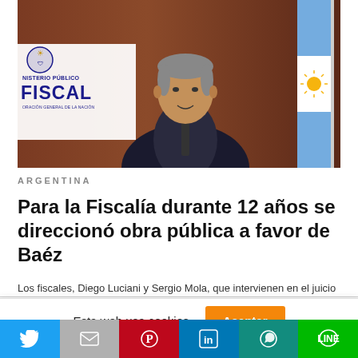[Figure (screenshot): Screenshot of a video call showing a man in a suit speaking, with the Ministerio Público Fiscal logo banner visible on the left and an Argentine flag on the right, against a dark reddish-brown background wall.]
ARGENTINA
Para la Fiscalía durante 12 años se direccionó obra pública a favor de Baéz
Los fiscales, Diego Luciani y Sergio Mola, que intervienen en el juicio
Esta web usa cookies.
[Figure (other): Social media share buttons bar: Twitter (blue), Gmail (gray), Pinterest (red), LinkedIn (blue), WhatsApp (teal), Line (green)]